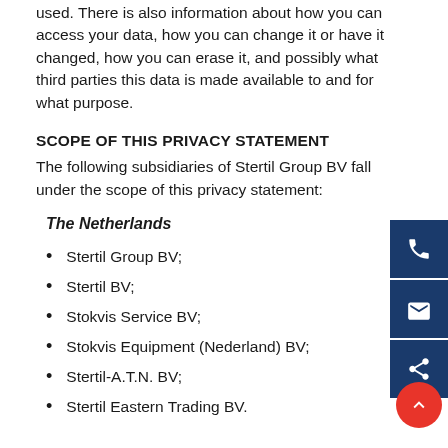used. There is also information about how you can access your data, how you can change it or have it changed, how you can erase it, and possibly what third parties this data is made available to and for what purpose.
SCOPE OF THIS PRIVACY STATEMENT
The following subsidiaries of Stertil Group BV fall under the scope of this privacy statement:
The Netherlands
Stertil Group BV;
Stertil BV;
Stokvis Service BV;
Stokvis Equipment (Nederland) BV;
Stertil-A.T.N. BV;
Stertil Eastern Trading BV.